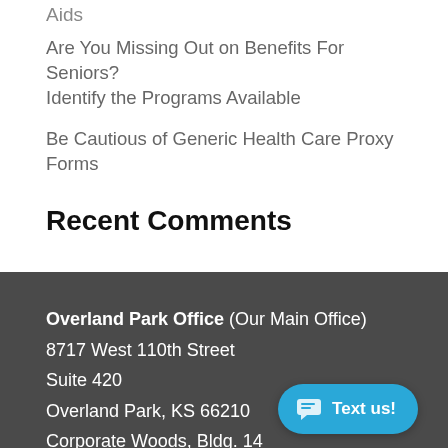Aids
Are You Missing Out on Benefits For Seniors? Identify the Programs Available
Be Cautious of Generic Health Care Proxy Forms
Recent Comments
Overland Park Office (Our Main Office)
8717 West 110th Street
Suite 420
Overland Park, KS 66210
Corporate Woods, Bldg. 14